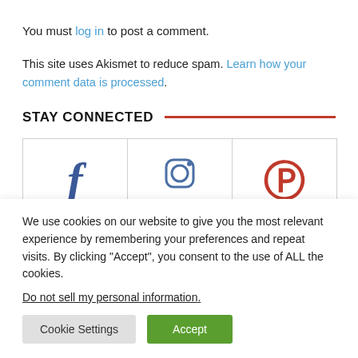You must log in to post a comment.
This site uses Akismet to reduce spam. Learn how your comment data is processed.
STAY CONNECTED
[Figure (other): Social media icons (Facebook, Instagram, Pinterest) with follower counts (394, 0, 177) in a three-column grid layout]
We use cookies on our website to give you the most relevant experience by remembering your preferences and repeat visits. By clicking "Accept", you consent to the use of ALL the cookies.
Do not sell my personal information.
Cookie Settings   Accept